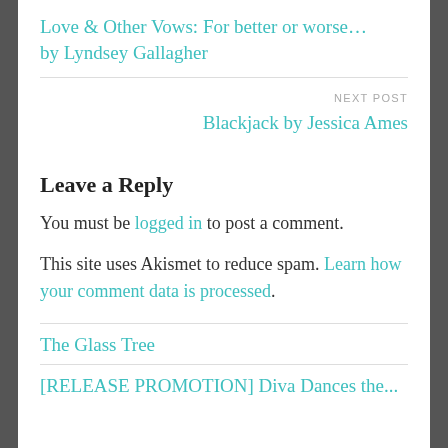Love & Other Vows: For better or worse… by Lyndsey Gallagher
NEXT POST
Blackjack by Jessica Ames
Leave a Reply
You must be logged in to post a comment.
This site uses Akismet to reduce spam. Learn how your comment data is processed.
The Glass Tree
[RELEASE PROMOTION] Diva Dances the...